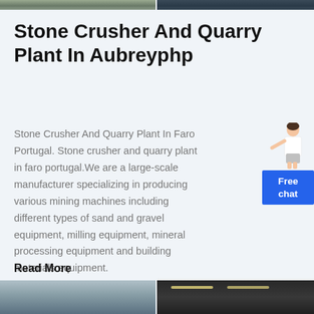[Figure (photo): Two photos at top: left shows a quarry/mountain landscape, right shows a dark industrial interior]
Stone Crusher And Quarry Plant In Aubreyphp
Stone Crusher And Quarry Plant In Faro Portugal. Stone crusher and quarry plant in faro portugal.We are a large-scale manufacturer specializing in producing various mining machines including different types of sand and gravel equipment, milling equipment, mineral processing equipment and building materials equipment.
Read More
[Figure (illustration): Free chat widget with a person figure and blue button saying 'Free chat']
[Figure (photo): Two photos at bottom: left shows a mountain/quarry scene, right shows an industrial building interior with lighting]